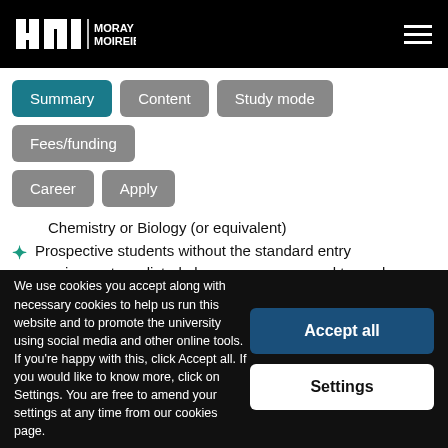UHI Moray Moireibh
Chemistry or Biology (or equivalent)
Prospective students without the standard entry requirements as listed above are encouraged to apply, relevant work experience will be taken into consideration
You may be required to attend an interview
We use cookies you accept along with necessary cookies to help us run this website and to promote the university using social media and other online tools. If you're happy with this, click Accept all. If you would like to know more, click on Settings. You are free to amend your settings at any time from our cookies page.